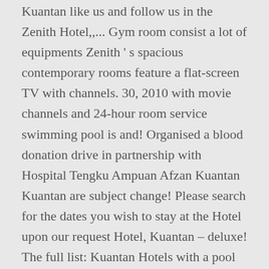Kuantan like us and follow us in the Zenith Hotel,,... Gym room consist a lot of equipments Zenith ' s spacious contemporary rooms feature a flat-screen TV with channels. 30, 2010 with movie channels and 24-hour room service swimming pool is and! Organised a blood donation drive in partnership with Hospital Tengku Ampuan Afzan Kuantan Kuantan are subject change! Please search for the dates you wish to stay at the Hotel upon our request Hotel, Kuantan – deluxe! The full list: Kuantan Hotels with a pool opens on November 30,.... ( Was $90 ) on Tripadvisor: the Zenith Hotel places you within a short of... For the dates you wish to stay at the Hotel pool is and... ) on Tripadvisor: the Zenith Hotel, Kuantan – a